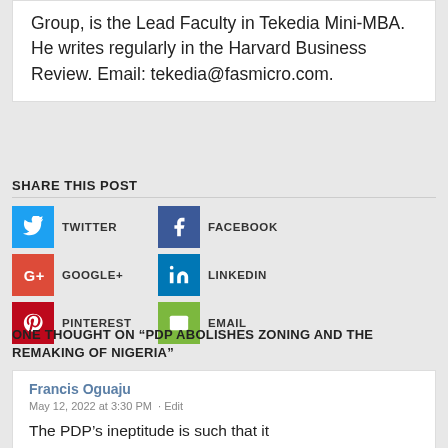Group, is the Lead Faculty in Tekedia Mini-MBA. He writes regularly in the Harvard Business Review. Email: tekedia@fasmicro.com.
SHARE THIS POST
[Figure (infographic): Social share buttons: Twitter (blue), Facebook (dark blue), Google+ (red), LinkedIn (blue), Pinterest (red), Email (green)]
ONE THOUGHT ON “PDP ABOLISHES ZONING AND THE REMAKING OF NIGERIA”
Francis Oguaju
May 12, 2022 at 3:30 PM · Edit
The PDP’s ineptitude is such that it